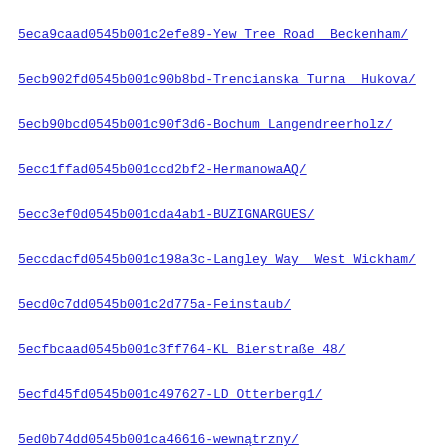5eca9caad0545b001c2efe89-Yew Tree Road  Beckenham/
5ecb902fd0545b001c90b8bd-Trencianska Turna  Hukova/
5ecb90bcd0545b001c90f3d6-Bochum Langendreerholz/
5ecc1ffad0545b001ccd2bf2-HermanowaAQ/
5ecc3ef0d0545b001cda4ab1-BUZIGNARGUES/
5eccdacfd0545b001c198a3c-Langley Way  West Wickham/
5ecd0c7dd0545b001c2d775a-Feinstaub/
5ecfbcaad0545b001c3ff764-KL Bierstraße 48/
5ecfd45fd0545b001c497627-LD Otterberg1/
5ed0b74dd0545b001ca46616-wewnątrzny/